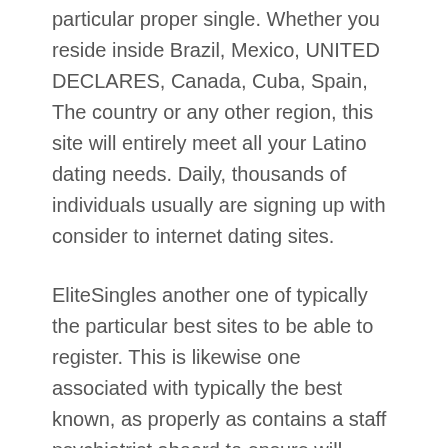particular proper single. Whether you reside inside Brazil, Mexico, UNITED DECLARES, Canada, Cuba, Spain, The country or any other region, this site will entirely meet all your Latino dating needs. Daily, thousands of individuals usually are signing up with consider to internet dating sites.
EliteSingles another one of typically the particular best sites to be able to register. This is likewise one associated with typically the best known, as properly as contains a staff psychiatrist aboard to ensure will typically the dating and partnership suggestions comes from an specialist during a call.